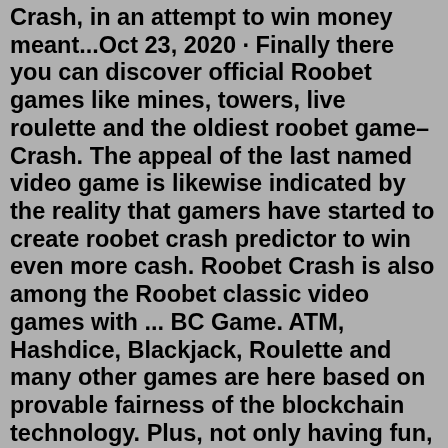Crash, in an attempt to win money meant...Oct 23, 2020 · Finally there you can discover official Roobet games like mines, towers, live roulette and the oldiest roobet game– Crash. The appeal of the last named video game is likewise indicated by the reality that gamers have started to create roobet crash predictor to win even more cash. Roobet Crash is also among the Roobet classic video games with ... BC Game. ATM, Hashdice, Blackjack, Roulette and many other games are here based on provable fairness of the blockchain technology. Plus, not only having fun, you can be a banker. Join BC.Game now and Boost Cryptocurrencies here! There are games to play like Crash, Dice, Mines, Roulette, and Towers and much more. The sportsbook section is packed with all the information you need on your game of choice, including games like Poker, There is no KYC process for Roobet, you do have an account with bitcoins in order to make a payment.Crash - Roobet. Play Now . by Gambler. 2 years ago 0 964. More Games. Crash - BC Game. Play Now. Blast - Bitsler. Play Now. Boom -